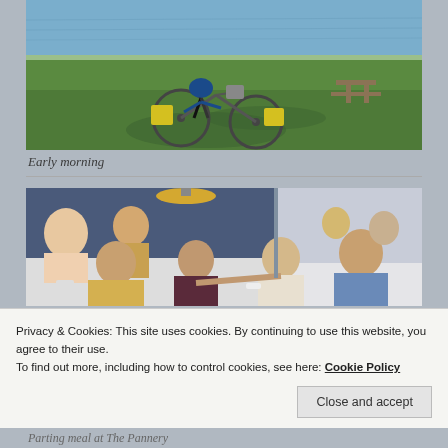[Figure (photo): Person crouching next to a heavily loaded touring bicycle on green grass near a body of water, early morning scene]
Early morning
[Figure (photo): Group of people seated at dinner tables in a restaurant, four people visible in foreground smiling at camera]
Privacy & Cookies: This site uses cookies. By continuing to use this website, you agree to their use.
To find out more, including how to control cookies, see here: Cookie Policy
Parting meal at The Pannery